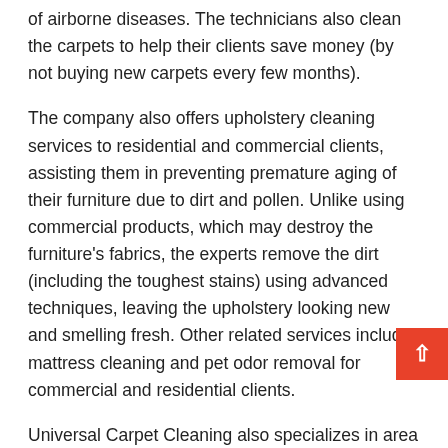of airborne diseases. The technicians also clean the carpets to help their clients save money (by not buying new carpets every few months).
The company also offers upholstery cleaning services to residential and commercial clients, assisting them in preventing premature aging of their furniture due to dirt and pollen. Unlike using commercial products, which may destroy the furniture's fabrics, the experts remove the dirt (including the toughest stains) using advanced techniques, leaving the upholstery looking new and smelling fresh. Other related services include mattress cleaning and pet odor removal for commercial and residential clients.
Universal Carpet Cleaning also specializes in area rug cleaning. The technicians are experienced in washing Persian, Indian, Oriental, Afghani, and Pakistani rugs. For area rugs that are water damaged or require